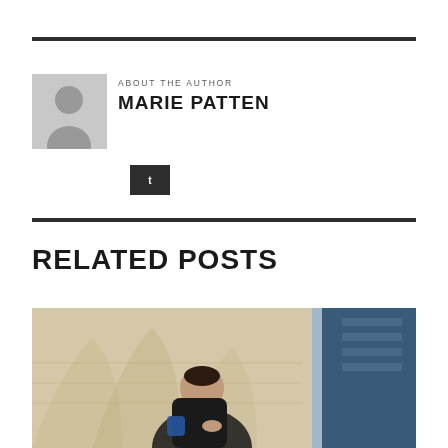ABOUT THE AUTHOR
MARIE PATTEN
[Figure (illustration): Author avatar placeholder with person silhouette on grey background]
[Figure (illustration): Dark button with Twitter bird icon]
RELATED POSTS
[Figure (photo): Young woman leaning on stone architectural columns, wearing dark jacket, outdoor urban setting]